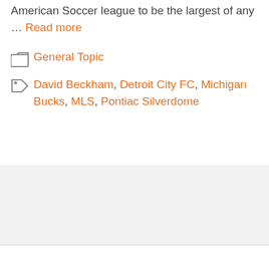American Soccer league to be the largest of any … Read more
Categories: General Topic
Tags: David Beckham, Detroit City FC, Michigan Bucks, MLS, Pontiac Silverdome